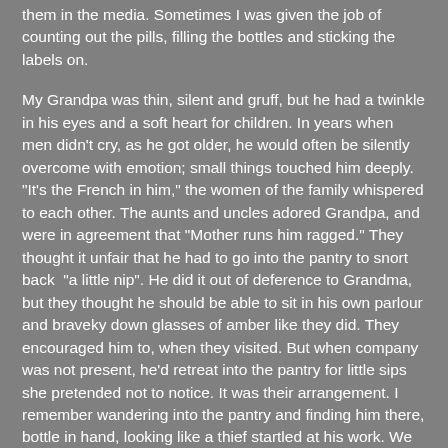them in the media. Sometimes I was given the job of counting out the pills, filling the bottles and sticking the labels on.
My Grandpa was thin, silent and gruff, but he had a twinkle in his eyes and a soft heart for children. In years when men didn't cry, as he got older, he would often be silently overcome with emotion; small things touched him deeply. "It's the French in him," the women of the family whispered to each other. The aunts and uncles adored Grandpa, and were in agreement that "Mother runs him ragged." They thought it unfair that he had to go into the pantry to snort back  "a little nip". He did it out of deference to Grandma, but they thought he should be able to sit in his own parlour and braveky down glasses of amber like they did. They encouraged him to, when they visited. But when company was not present, he'd retreat into the pantry for little sips she pretended not to notice. It was their arrangement. I remember wandering into the pantry and finding him there, bottle in hand, looking like a thief startled at his work. We both pretended the bottle was invisible.
An often-told tale was how Grandma gave away Grandpa's best suit to a hobo during the Depression. They said the house must have had a mark on it, so many hobos came knocking. Grandma could never turn away anyone who was hungry, even though feeding her own five children in